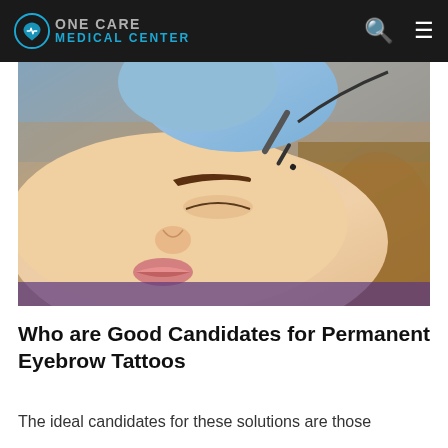ONE CARE MEDICAL CENTER
[Figure (photo): A woman lying down with eyes closed receiving a permanent eyebrow tattoo procedure. A gloved hand holds a tattoo pen tool near her eyebrow area. She has one fully drawn dark brown eyebrow visible.]
Who are Good Candidates for Permanent Eyebrow Tattoos
The ideal candidates for these solutions are those